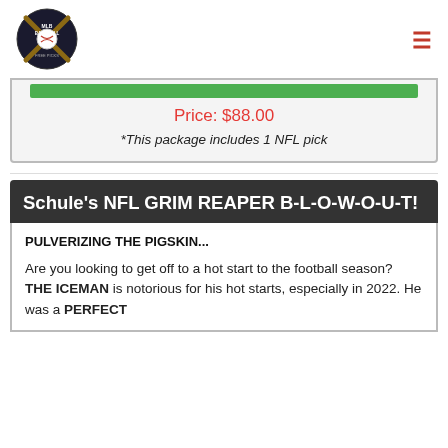[Figure (logo): MLB Baseball Free Picks logo with crossed bats and baseball]
Price: $88.00
*This package includes 1 NFL pick
Schule's NFL GRIM REAPER B-L-O-W-O-U-T!
PULVERIZING THE PIGSKIN...
Are you looking to get off to a hot start to the football season? THE ICEMAN is notorious for his hot starts, especially in 2022. He was a PERFECT